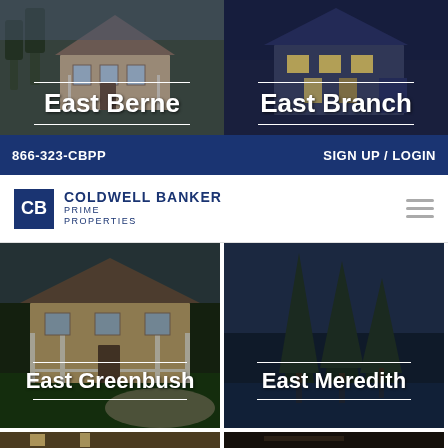[Figure (photo): Photo of a house with light tan/beige siding partially visible at top, labeled 'East Berne']
[Figure (photo): Photo of a dark blue two-story house at night, labeled 'East Branch']
866-323-CBPP    SIGN UP / LOGIN
[Figure (logo): Coldwell Banker Prime Properties logo with CB icon and hamburger menu]
[Figure (photo): Photo of a ranch-style house with white columns and green lawn, labeled 'East Greenbush']
[Figure (photo): Photo of tall pine trees by a lake at dusk, labeled 'East Meredith']
[Figure (photo): Photo of an interior room with lamp, partially visible at bottom left]
[Figure (photo): Photo of a dark interior space, partially visible at bottom right]